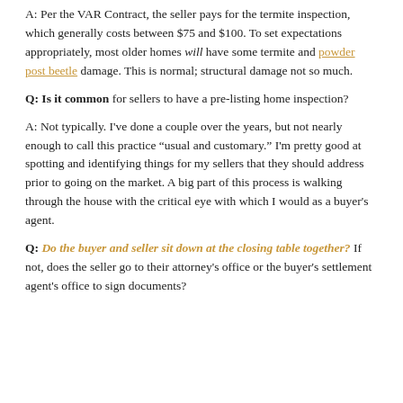A: Per the VAR Contract, the seller pays for the termite inspection, which generally costs between $75 and $100. To set expectations appropriately, most older homes will have some termite and powder post beetle damage. This is normal; structural damage not so much.
Q: Is it common for sellers to have a pre-listing home inspection?
A: Not typically. I've done a couple over the years, but not nearly enough to call this practice “usual and customary.” I'm pretty good at spotting and identifying things for my sellers that they should address prior to going on the market. A big part of this process is walking through the house with the critical eye with which I would as a buyer's agent.
Q: Do the buyer and seller sit down at the closing table together? If not, does the seller go to their attorney's office or the buyer's settlement agent's office to sign documents?